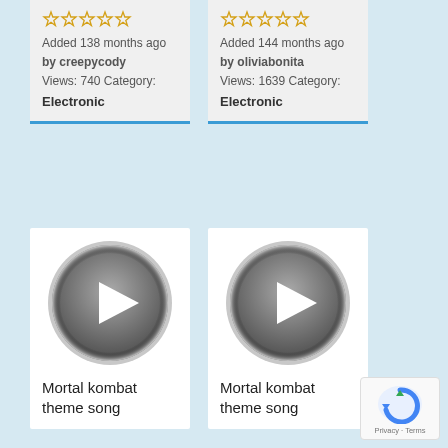[Figure (other): Star rating (empty stars) for first card]
Added 138 months ago by creepycody
Views: 740 Category:
Electronic
[Figure (other): Star rating (empty stars) for second card]
Added 144 months ago by oliviabonita
Views: 1639 Category:
Electronic
[Figure (other): Play button circle icon for Mortal kombat theme song (left)]
Mortal kombat theme song
[Figure (other): Play button circle icon for Mortal kombat theme song (right)]
Mortal kombat theme song
[Figure (other): reCAPTCHA badge with Privacy and Terms text]